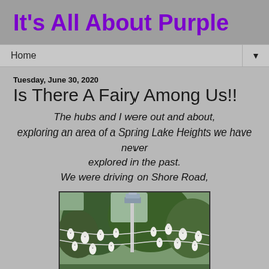It's All About Purple
Home ▼
Tuesday, June 30, 2020
Is There A Fairy Among Us!!
The hubs and I were out and about, exploring an area of a Spring Lake Heights we have never explored in the past. We were driving on Shore Road,
[Figure (photo): Photo of white gourd-shaped birdhouses hanging on string lights with trees and a tall birdhouse post in the background]